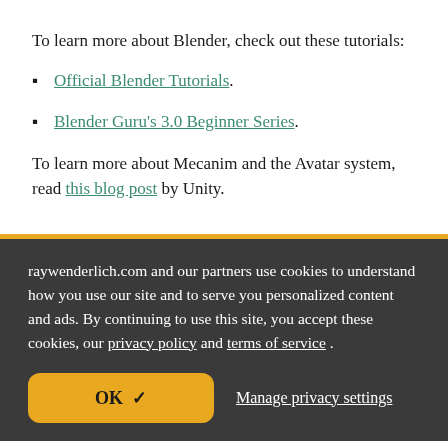To learn more about Blender, check out these tutorials:
Official Blender Tutorials.
Blender Guru's 3.0 Beginner Series.
To learn more about Mecanim and the Avatar system, read this blog post by Unity.
raywenderlich.com and our partners use cookies to understand how you use our site and to serve you personalized content and ads. By continuing to use this site, you accept these cookies, our privacy policy and terms of service .
OK ✓
Manage privacy settings